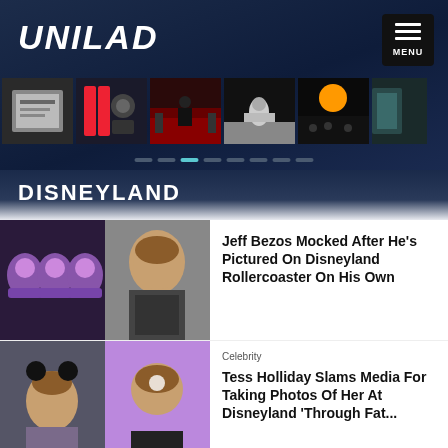UNILAD
[Figure (screenshot): UNILAD website header with logo, hamburger menu button, and a horizontal strip of 6 thumbnail images (various scenes), with navigation dots below]
DISNEYLAND
[Figure (photo): Article thumbnail showing Disneyland ride seats on the left and Jeff Bezos portrait on the right]
Jeff Bezos Mocked After He's Pictured On Disneyland Rollercoaster On His Own
[Figure (photo): Article thumbnail showing two women, one with Mickey Mouse ears at Disneyland, the other at an event]
Celebrity
Tess Holliday Slams Media For Taking Photos Of Her At Disneyland 'Through Fat...